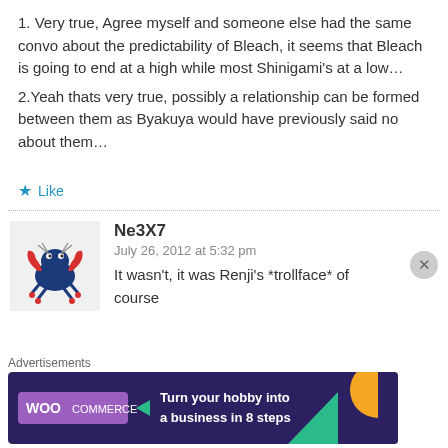1. Very true, Agree myself and someone else had the same convo about the predictability of Bleach, it seems that Bleach is going to end at a high while most Shinigami's at a low…
2.Yeah thats very true, possibly a relationship can be formed between them as Byakuya would have previously said no about them…
★ Like
Ne3X7
July 26, 2012 at 5:32 pm
It wasn't, it was Renji's *trollface* of course
Advertisements
[Figure (screenshot): WooCommerce advertisement banner: 'Turn your hobby into a business in 8 steps' on dark purple background with colorful geometric shapes]